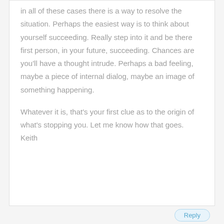in all of these cases there is a way to resolve the situation. Perhaps the easiest way is to think about yourself succeeding. Really step into it and be there first person, in your future, succeeding. Chances are you'll have a thought intrude. Perhaps a bad feeling, maybe a piece of internal dialog, maybe an image of something happening.
Whatever it is, that's your first clue as to the origin of what's stopping you. Let me know how that goes.
Keith